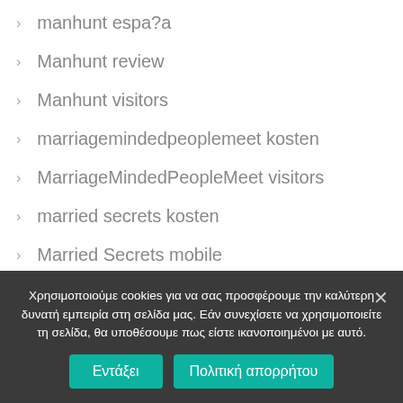manhunt espa?a
Manhunt review
Manhunt visitors
marriagemindedpeoplemeet kosten
MarriageMindedPeopleMeet visitors
married secrets kosten
Married Secrets mobile
Married Secrets visitors
Maryland payday loans online same day
Χρησιμοποιούμε cookies για να σας προσφέρουμε την καλύτερη δυνατή εμπειρία στη σελίδα μας. Εάν συνεχίσετε να χρησιμοποιείτε τη σελίδα, θα υποθέσουμε πως είστε ικανοποιημένοι με αυτό.
Εντάξει   Πολιτική απορρήτου